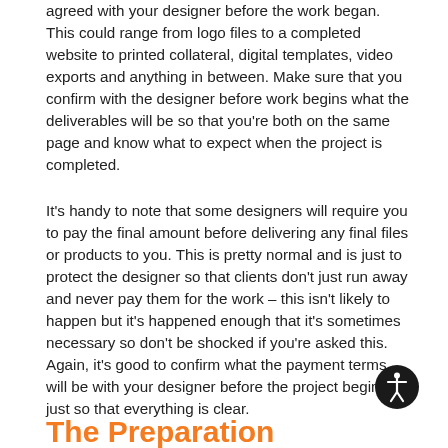agreed with your designer before the work began. This could range from logo files to a completed website to printed collateral, digital templates, video exports and anything in between. Make sure that you confirm with the designer before work begins what the deliverables will be so that you're both on the same page and know what to expect when the project is completed.
It's handy to note that some designers will require you to pay the final amount before delivering any final files or products to you. This is pretty normal and is just to protect the designer so that clients don't just run away and never pay them for the work – this isn't likely to happen but it's happened enough that it's sometimes necessary so don't be shocked if you're asked this. Again, it's good to confirm what the payment terms will be with your designer before the project begins, just so that everything is clear.
The Preparation